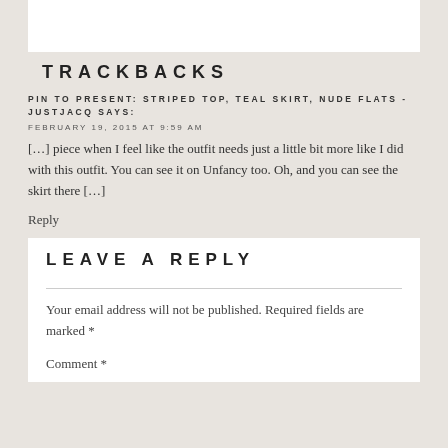TRACKBACKS
PIN TO PRESENT: STRIPED TOP, TEAL SKIRT, NUDE FLATS - JUSTJACQ SAYS:
FEBRUARY 19, 2015 AT 9:59 AM
[…] piece when I feel like the outfit needs just a little bit more like I did with this outfit. You can see it on Unfancy too. Oh, and you can see the skirt there […]
Reply
LEAVE A REPLY
Your email address will not be published. Required fields are marked *
Comment *